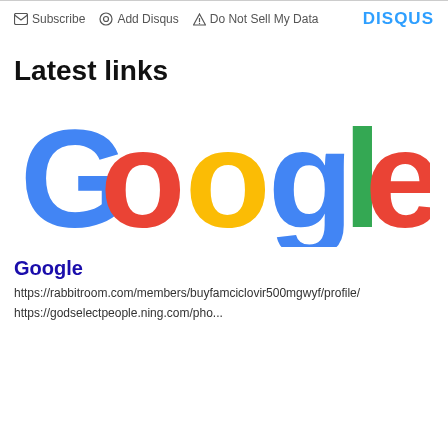Subscribe  Add Disqus  Do Not Sell My Data  DISQUS
Latest links
[Figure (logo): Google logo — colorful letters spelling 'Google' in blue, red, yellow, blue, green, red]
Google
https://rabbitroom.com/members/buyfamciclovir500mgwyf/profile/
https://godselectpeople.ning.com/pho...